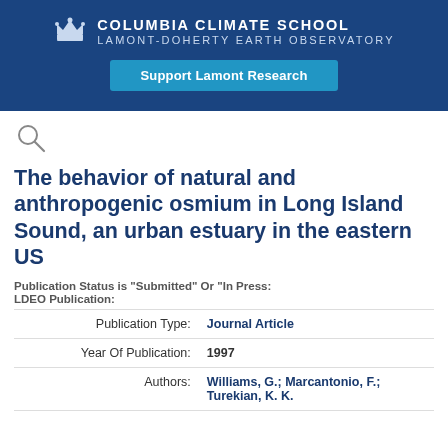Columbia Climate School Lamont-Doherty Earth Observatory
Support Lamont Research
[Figure (other): Search icon (magnifying glass)]
The behavior of natural and anthropogenic osmium in Long Island Sound, an urban estuary in the eastern US
Publication Status is "Submitted" Or "In Press:"
LDEO Publication:
| Publication Type: | Journal Article |
| Year Of Publication: | 1997 |
| Authors: | Williams, G.; Marcantonio, F.; Turekian, K. K. |